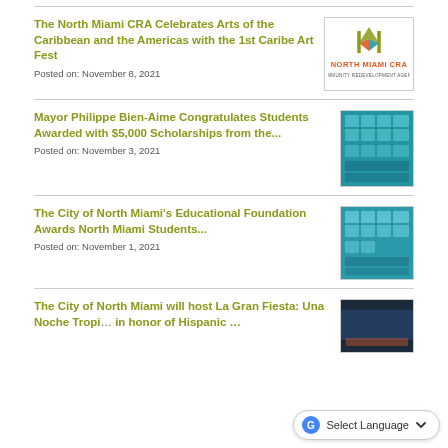The North Miami CRA Celebrates Arts of the Caribbean and the Americas with the 1st Caribe Art Fest
Posted on: November 8, 2021
[Figure (logo): North Miami CRA Community Redevelopment Agency logo]
Mayor Philippe Bien-Aime Congratulates Students Awarded with $5,000 Scholarships from the...
Posted on: November 3, 2021
[Figure (photo): Blue flyer/poster showing scholarship recipients]
The City of North Miami's Educational Foundation Awards North Miami Students...
Posted on: November 1, 2021
[Figure (photo): Blue flyer/poster showing North Miami students]
The City of North Miami will host La Gran Fiesta: Una Noche Tropi… in honor of Hispanic …
[Figure (photo): Dark event photo thumbnail]